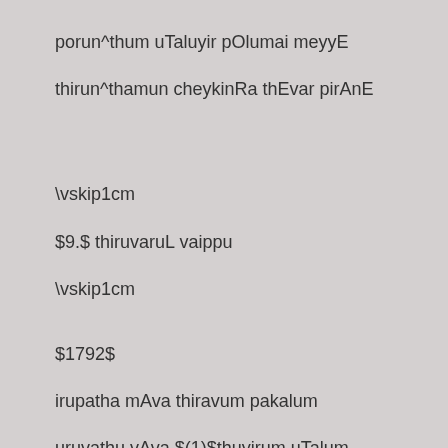porun^thum uTaluyir pOlumai meyyE
thirun^thamun cheykinRa thEvar pirAnE
\vskip1cm
$9.$ thiruvaruL vaippu
\vskip1cm
$1792$
irupatha mAva thiravum pakalum
uruvathu vAva $(1)$thuyirum uTalum